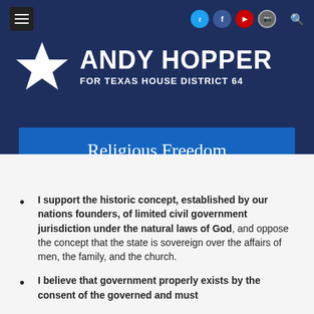[Figure (logo): Andy Hopper for Texas House District 64 campaign logo with star graphic on dark navy background]
Religious Freedom
I support the historic concept, established by our nations founders, of limited civil government jurisdiction under the natural laws of God, and oppose the concept that the state is sovereign over the affairs of men, the family, and the church.
I believe that government properly exists by the consent of the governed and must